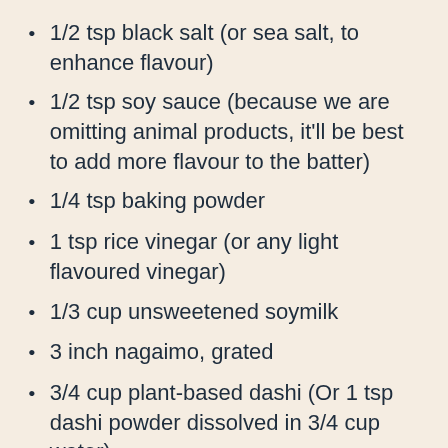1/2 tsp black salt (or sea salt, to enhance flavour)
1/2 tsp soy sauce (because we are omitting animal products, it'll be best to add more flavour to the batter)
1/4 tsp baking powder
1 tsp rice vinegar (or any light flavoured vinegar)
1/3 cup unsweetened soymilk
3 inch nagaimo, grated
3/4 cup plant-based dashi (Or 1 tsp dashi powder dissolved in 3/4 cup water)